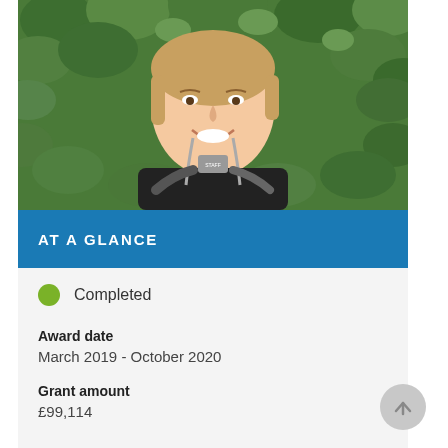[Figure (photo): Headshot photo of a smiling young woman with a staff lanyard, standing in front of green foliage]
AT A GLANCE
Completed
Award date
March 2019 - October 2020
Grant amount
£99,114